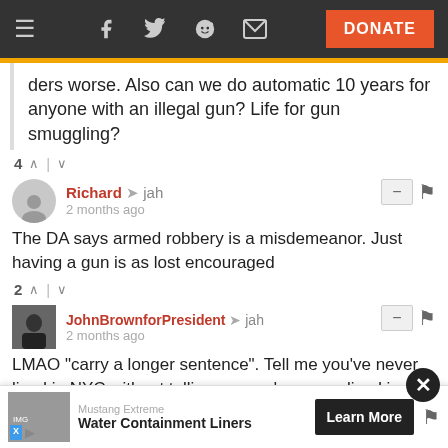Navigation bar with hamburger, social icons (Facebook, Twitter, Reddit, email), and DONATE button
ders worse. Also can we do automatic 10 years for anyone with an illegal gun? Life for gun smuggling?
4 ^ | v
Richard → jah
2 months ago
The DA says armed robbery is a misdemeanor. Just having a gun is as lost encouraged
2 ^ | v
JohnBrownforPresident → jah
2 months ago
LMAO "carry a longer sentence". Tell me you've never lived in NYC without telling me you've never lived in NYC
3 ^ | v
[Figure (screenshot): Advertisement banner: Mustang Extreme - Water Containment Liners with Learn More button and close X button]